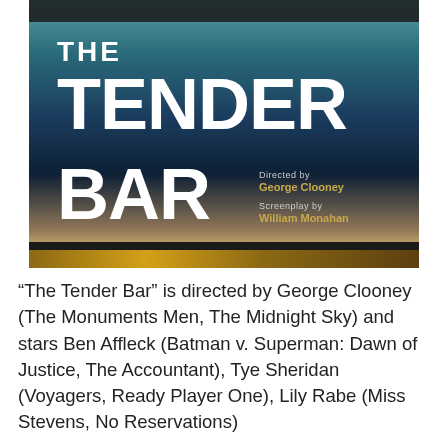[Figure (photo): Movie poster for 'The Tender Bar' showing large white bold text on a dark teal/navy background with a bar top surface visible. Credits show 'Directed by George Clooney' and 'Screenplay by William Monahan' in gold text.]
“The Tender Bar” is directed by George Clooney (The Monuments Men, The Midnight Sky) and stars Ben Affleck (Batman v. Superman: Dawn of Justice, The Accountant), Tye Sheridan (Voyagers, Ready Player One), Lily Rabe (Miss Stevens, No Reservations)